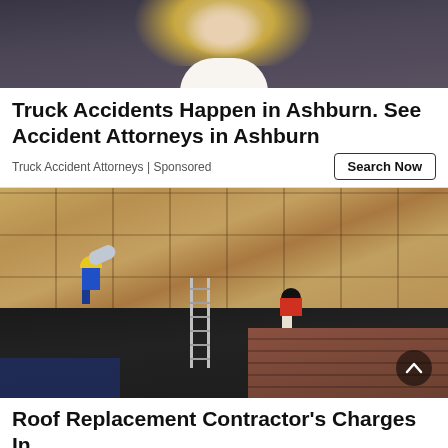[Figure (photo): Close-up photo of a blonde woman in a dark blazer with white collar, cropped at chin/shoulder level — appears to be a professional attorney headshot.]
Truck Accidents Happen in Ashburn. See Accident Attorneys in Ashburn
Truck Accident Attorneys | Sponsored
Search Now
[Figure (photo): Aerial/overhead photo of two workers on a rooftop during roof replacement — one worker in blue carrying rolled material, another in red/white working on dark shingles. A ladder is visible leading up to the roof. Background shows brick building walls and surrounding yard.]
Roof Replacement Contractor's Charges In